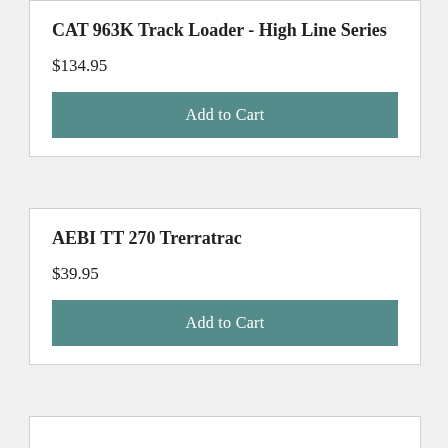CAT 963K Track Loader - High Line Series
$134.95
Add to Cart
AEBI TT 270 Trerratrac
$39.95
Add to Cart
[Figure (photo): Partial view of a Volvo construction/engineering vehicle, showing the front/side with yellow and black coloring and Volvo logo text]